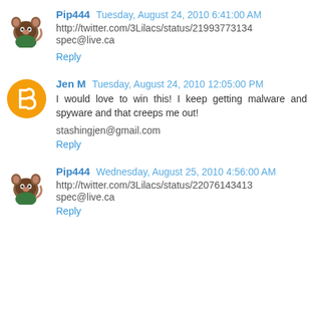Pip444  Tuesday, August 24, 2010 6:41:00 AM
http://twitter.com/3Lilacs/status/21993773134
spec@live.ca
Reply
Jen M  Tuesday, August 24, 2010 12:05:00 PM
I would love to win this! I keep getting malware and spyware and that creeps me out!
stashingjen@gmail.com
Reply
Pip444  Wednesday, August 25, 2010 4:56:00 AM
http://twitter.com/3Lilacs/status/22076143413
spec@live.ca
Reply